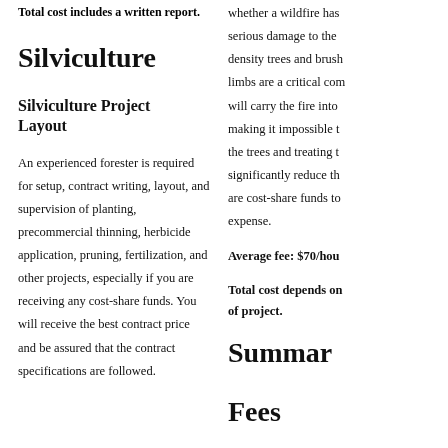Total cost includes a written report.
Silviculture
Silviculture Project Layout
An experienced forester is required for setup, contract writing, layout, and supervision of planting, precommercial thinning, herbicide application, pruning, fertilization, and other projects, especially if you are receiving any cost-share funds. You will receive the best contract price and be assured that the contract specifications are followed.
whether a wildfire has serious damage to the density trees and brush limbs are a critical com will carry the fire into making it impossible t the trees and treating t significantly reduce th are cost-share funds to expense.
Average fee: $70/hou
Total cost depends on of project.
Summary Fees